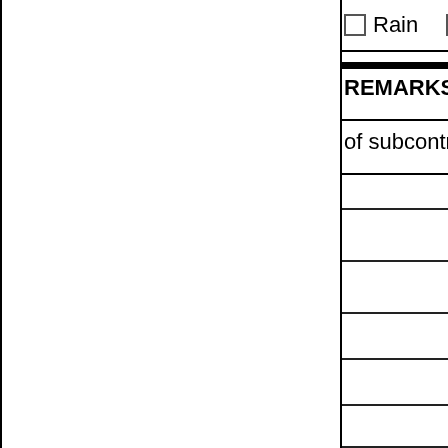Rain   Cold   H
REMARKS: (Describe significant
of subcontractors, and number co